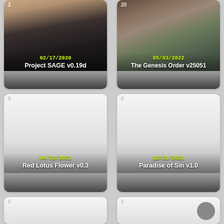[Figure (screenshot): Game card grid showing visual novel/adult game listings with cover images, dates, and titles. Top row: Project SAGE v0.19d (02/17/2020) and The Genesis Order v25051 (05/03/2022). Middle row: Red Lotus Flower v0.3 (04/22/2021) and Paradise of Sin v1.0 (12/21/2021). Bottom row: two more partially visible cards.]